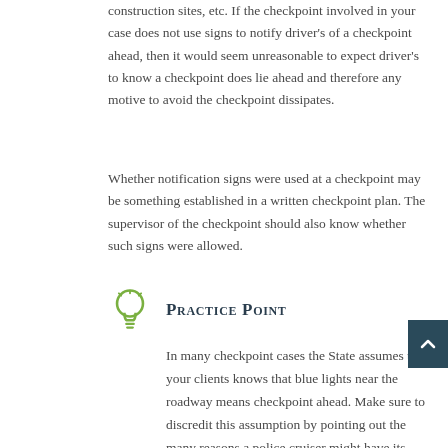construction sites, etc. If the checkpoint involved in your case does not use signs to notify driver's of a checkpoint ahead, then it would seem unreasonable to expect driver's to know a checkpoint does lie ahead and therefore any motive to avoid the checkpoint dissipates.
Whether notification signs were used at a checkpoint may be something established in a written checkpoint plan. The supervisor of the checkpoint should also know whether such signs were allowed.
Practice Point
In many checkpoint cases the State assumes that your clients knows that blue lights near the roadway means checkpoint ahead. Make sure to discredit this assumption by pointing out the many reasons a police cruiser might have its lights engaged. If your case involves a checkpoint that did not utilize signage to notify driver's a checkpoint was being conducted, the perimeter of the checkpoint may become significantly